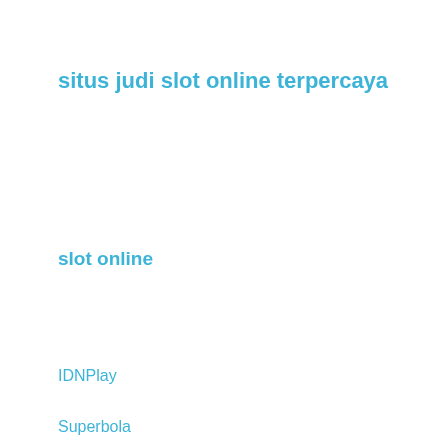situs judi slot online terpercaya
slot online
IDNPlay
Superbola